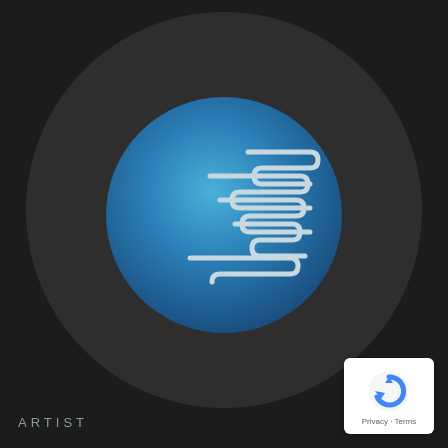[Figure (logo): Circular dark vinyl record-like background with a centered blue gradient circle containing a white squiggly line pattern logo (horizontal wavy parallel lines)]
ARTIST
[Figure (logo): reCAPTCHA badge with blue circular arrow icon and 'Privacy - Terms' text]